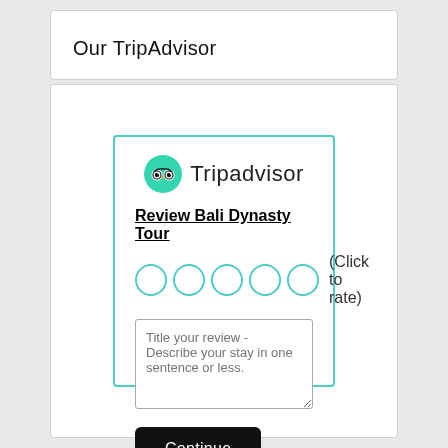Our TripAdvisor
[Figure (screenshot): TripAdvisor review widget with logo, 'Review Bali Dynasty Tour' heading, 5 empty star rating circles with '(Click to rate)' text, a textarea with placeholder 'Title your review - Describe your stay in one sentence or less.', and a black 'Continue' button. The widget has a teal/cyan border.]